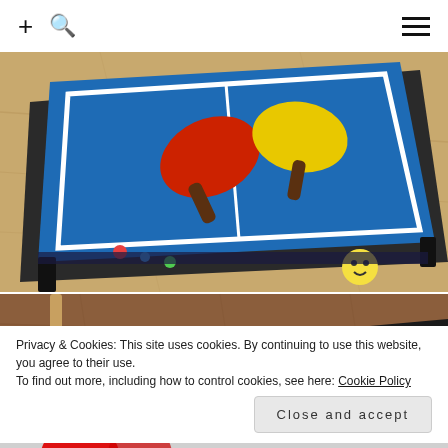+ [search icon] [menu icon]
[Figure (photo): Overhead angled view of a mini table tennis (ping pong) table with a blue playing surface, white boundary lines, a red paddle and a yellow paddle on top. The table has black legs and colorful cartoon sticker decorations on the side. The background is a wooden floor.]
[Figure (photo): Partial view of a wooden floor with what appears to be a dark-framed board or game surface in the lower right corner.]
Privacy & Cookies: This site uses cookies. By continuing to use this website, you agree to their use.
To find out more, including how to control cookies, see here: Cookie Policy
Close and accept
[Figure (photo): Partial view at the very bottom of the page showing a red circular object, likely another game or toy.]